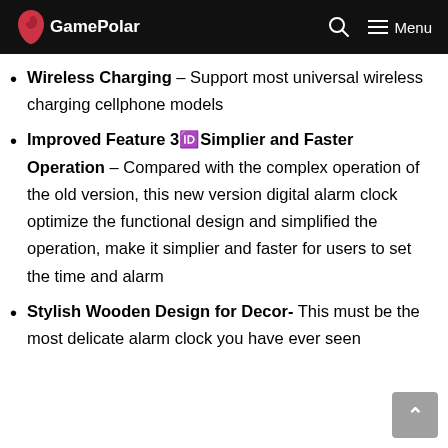GamePolar — Menu
Wireless Charging – Support most universal wireless charging cellphone models
Improved Feature 3⃣Simplier and Faster Operation – Compared with the complex operation of the old version, this new version digital alarm clock optimize the functional design and simplified the operation, make it simplier and faster for users to set the time and alarm
Stylish Wooden Design for Decor- This must be the most delicate alarm clock you have ever seen